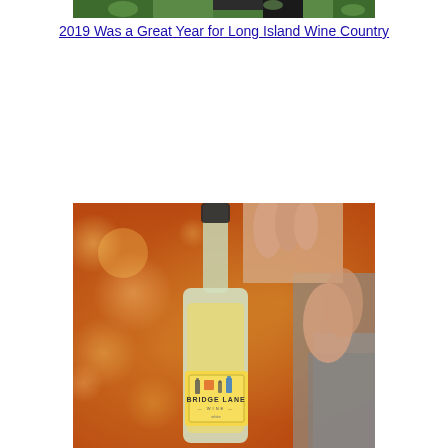[Figure (photo): Top portion of a photo showing green foliage and what appears to be an outdoor winery or vineyard setting, cropped at the very top of the frame.]
2019 Was a Great Year for Long Island Wine Country
[Figure (photo): A hand holding up a bottle of Bridge Lane wine against a blurred autumn foliage background with warm orange and red tones. The bottle has a yellow label with the Bridge Lane Wine logo and branding.]